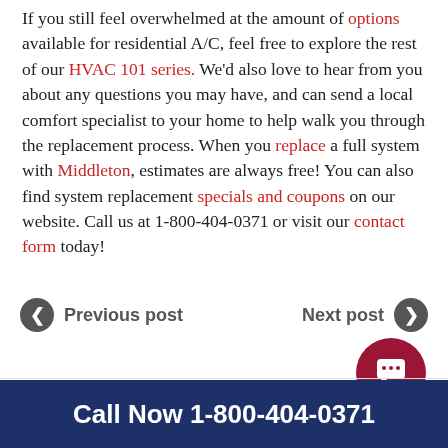If you still feel overwhelmed at the amount of options available for residential A/C, feel free to explore the rest of our HVAC 101 series. We'd also love to hear from you about any questions you may have, and can send a local comfort specialist to your home to help walk you through the replacement process. When you replace a full system with Middleton, estimates are always free! You can also find system replacement specials and coupons on our website. Call us at 1-800-404-0371 or visit our contact form today!
Previous post
Next post
Call Now 1-800-404-0371